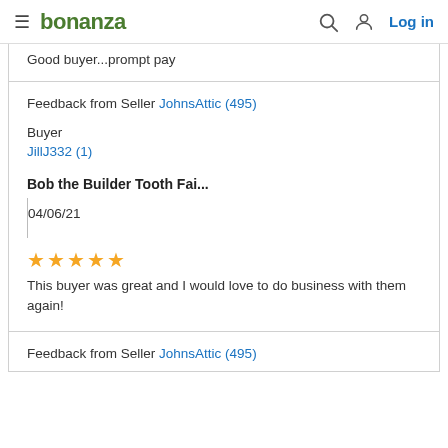≡ bonanza  🔍  👤  Log in
Good buyer...prompt pay
Feedback from Seller JohnsAttic (495)
Buyer
JillJ332 (1)
Bob the Builder Tooth Fai...
04/06/21
★★★★★
This buyer was great and I would love to do business with them again!
Feedback from Seller JohnsAttic (495)